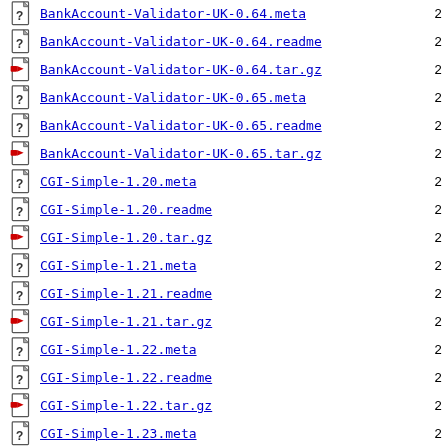BankAccount-Validator-UK-0.64.meta
BankAccount-Validator-UK-0.64.readme
BankAccount-Validator-UK-0.64.tar.gz
BankAccount-Validator-UK-0.65.meta
BankAccount-Validator-UK-0.65.readme
BankAccount-Validator-UK-0.65.tar.gz
CGI-Simple-1.20.meta
CGI-Simple-1.20.readme
CGI-Simple-1.20.tar.gz
CGI-Simple-1.21.meta
CGI-Simple-1.21.readme
CGI-Simple-1.21.tar.gz
CGI-Simple-1.22.meta
CGI-Simple-1.22.readme
CGI-Simple-1.22.tar.gz
CGI-Simple-1.23.meta
CGI-Simple-1.23.readme
CGI-Simple-1.23.tar.gz